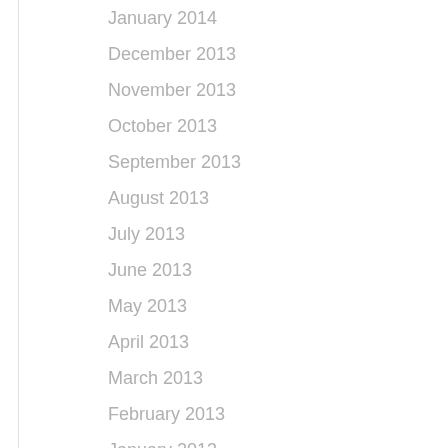January 2014
December 2013
November 2013
October 2013
September 2013
August 2013
July 2013
June 2013
May 2013
April 2013
March 2013
February 2013
January 2013
December 2012
November 2012
October 2012
September 2012
August 2012